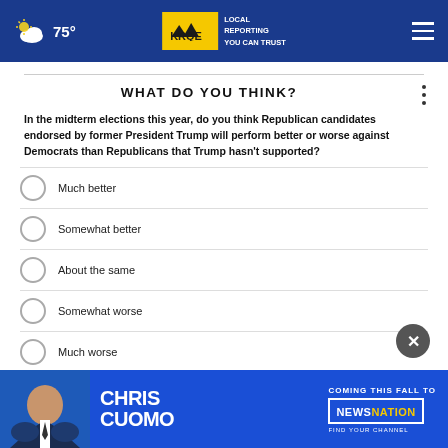KRQE LOCAL REPORTING YOU CAN TRUST | 75°
WHAT DO YOU THINK?
In the midterm elections this year, do you think Republican candidates endorsed by former President Trump will perform better or worse against Democrats than Republicans that Trump hasn't supported?
Much better
Somewhat better
About the same
Somewhat worse
Much worse
[Figure (screenshot): Chris Cuomo Coming This Fall to NewsNation advertisement banner]